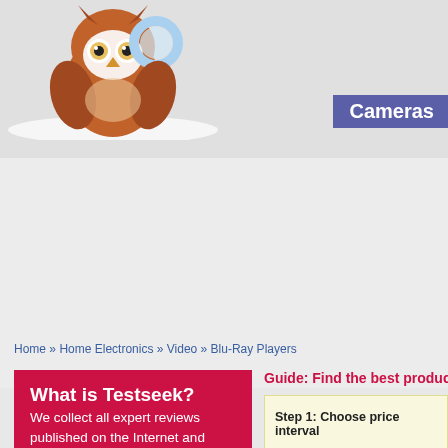[Figure (illustration): Testseek cartoon owl logo with magnifying glass on white/snow background]
Cameras
S
Home » Home Electronics » Video » Blu-Ray Players
What is Testseek?
We collect all expert reviews published on the Internet and calculate an average rating for each product so you can easily find the best products.
New on Testseek?
Use our super easy tool to find the best products in
"Blu-Ray Players" »
Guide: Find the best products i
Step 1: Choose price interval
Step 2: Choose average score interva
Step 3: Choose maximum product ag
Step 1: Choose price interva
Score, highest first